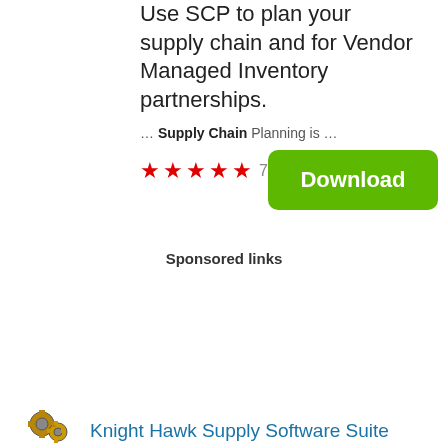Use SCP to plan your supply chain and for Vendor Managed Inventory partnerships.
… Supply Chain Planning is …
★★★★★ 70
Download
Sponsored links
Knight Hawk Supply Software Suite